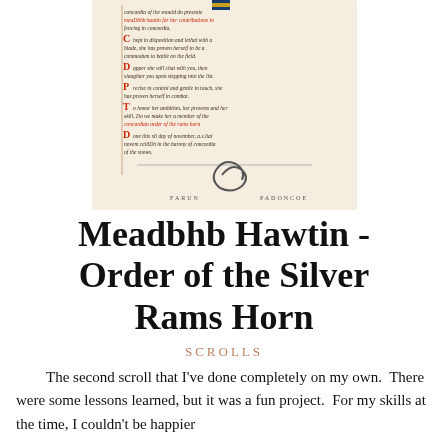[Figure (photo): A photograph of a medieval-style illuminated manuscript scroll page with red and black calligraphic text in Latin/archaic style, decorated with illuminated capitals in red and blue, and a decorative ram's horn motif at the bottom with the words 'FARUN' and 'PADONCOE' on either side.]
Meadbhb Hawtin - Order of the Silver Rams Horn
SCROLLS
The second scroll that I've done completely on my own.  There were some lessons learned, but it was a fun project.  For my skills at the time, I couldn't be happier